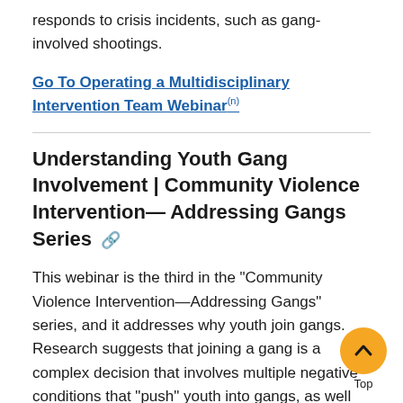responds to crisis incidents, such as gang-involved shootings.
Go To Operating a Multidisciplinary Intervention Team Webinar
Understanding Youth Gang Involvement | Community Violence Intervention—Addressing Gangs Series
This webinar is the third in the “Community Violence Intervention—Addressing Gangs” series, and it addresses why youth join gangs. Research suggests that joining a gang is a complex decision that involves multiple negative conditions that “push” youth into gangs, as well as perceived positive opportunities “pull” youth into gangs. Understanding both the